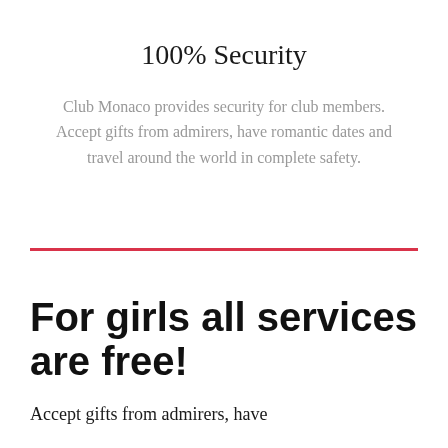100% Security
Club Monaco provides security for club members. Accept gifts from admirers, have romantic dates and travel around the world in complete safety.
For girls all services are free!
Accept gifts from admirers, have